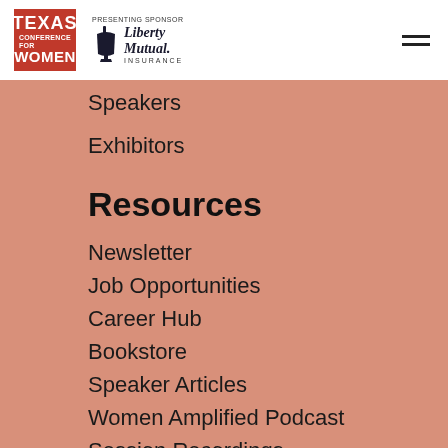Texas Conference for Women | Presenting Sponsor: Liberty Mutual Insurance
Speakers
Exhibitors
Resources
Newsletter
Job Opportunities
Career Hub
Bookstore
Speaker Articles
Women Amplified Podcast
Session Recordings
Latest News
JEL...